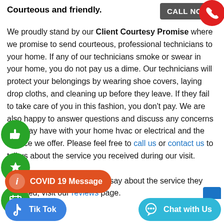Courteous and friendly.
[Figure (other): CALL NOW! button with red phone circle icon]
We proudly stand by our Client Courtesy Promise where we promise to send courteous, professional technicians to your home. If any of our technicians smoke or swear in your home, you do not pay us a dime. Our technicians will protect your belongings by wearing shoe covers, laying drop cloths, and cleaning up before they leave. If they fail to take care of you in this fashion, you don't pay. We are also happy to answer questions and discuss any concerns you may have with your home hvac or electrical and the service we offer. Please feel free to call us or contact us to tell us about the service you received during our visit. See what our clients have to say about the service they received, visit our reviews page.
[Figure (other): Green thumbs up circle icon]
[Figure (other): Green star circle icon]
[Figure (other): Green calendar circle icon]
[Figure (other): Orange COVID 19 Message button]
[Figure (other): Blue Tik Tok button]
[Figure (other): Cyan Chat with Us button]